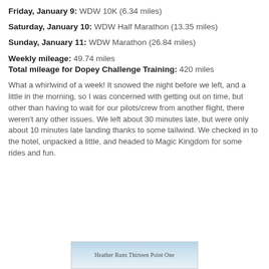Friday, January 9: WDW 10K (6.34 miles)
Saturday, January 10: WDW Half Marathon (13.35 miles)
Sunday, January 11: WDW Marathon (26.84 miles)
Weekly mileage: 49.74 miles
Total mileage for Dopey Challenge Training: 420 miles
What a whirlwind of a week! It snowed the night before we left, and a little in the morning, so I was concerned with getting out on time, but other than having to wait for our pilots/crew from another flight, there weren't any other issues. We left about 30 minutes late, but were only about 10 minutes late landing thanks to some tailwind. We checked in to the hotel, unpacked a little, and headed to Magic Kingdom for some rides and fun.
[Figure (screenshot): Partial screenshot of a blog header reading 'Heather Runs Thirteen Point One' with a light blue gradient background]